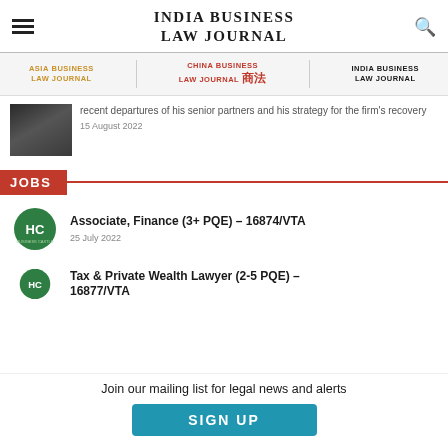INDIA BUSINESS LAW JOURNAL
[Figure (logo): Asia Business Law Journal logo (gold text), China Business Law Journal logo (red text with Chinese characters), India Business Law Journal logo (black text) — navigation bar]
recent departures of his senior partners and his strategy for the firm's recovery
15 August 2022
JOBS
Associate, Finance (3+ PQE) – 16874/VTA
25 July 2022
Tax & Private Wealth Lawyer (2-5 PQE) – 16877/VTA
Join our mailing list for legal news and alerts
SIGN UP